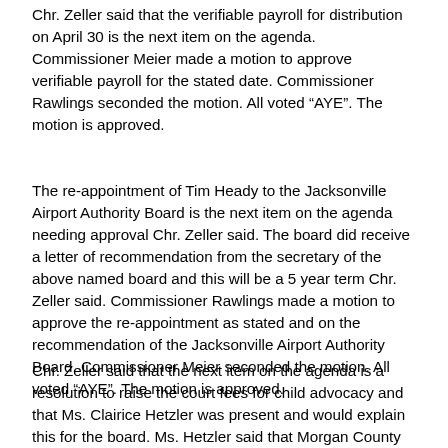Chr. Zeller said that the verifiable payroll for distribution on April 30 is the next item on the agenda. Commissioner Meier made a motion to approve verifiable payroll for the stated date. Commissioner Rawlings seconded the motion. All voted “AYE”. The motion is approved.
The re-appointment of Tim Heady to the Jacksonville Airport Authority Board is the next item on the agenda needing approval Chr. Zeller said. The board did receive a letter of recommendation from the secretary of the above named board and this will be a 5 year term Chr. Zeller said. Commissioner Rawlings made a motion to approve the re-appointment as stated and on the recommendation of the Jacksonville Airport Authority Board. Commissioner Meier seconded the motion. All voted “AYE”. The motion is approved.
Chr. Zeller said that the next item on the agenda is a resolution to raise the court fees for child advocacy and that Ms. Clairice Hetzler was present and would explain this for the board. Ms. Hetzler said that Morgan County has been involved with this program since 2006. Ms. Hetzler said that there are